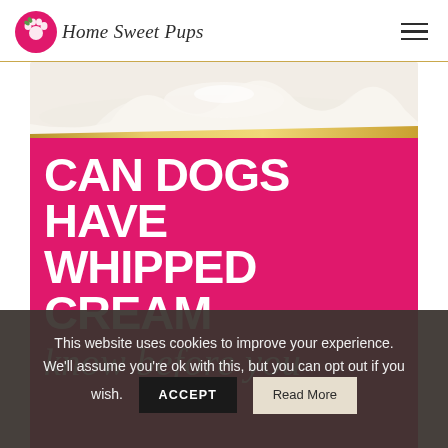Home Sweet Pups
[Figure (illustration): Hero image with whipped cream swirl at top, gold diagonal stripe, and hot pink/magenta background block with bold white text reading 'CAN DOGS HAVE WHIPPED CREAM' and italic white script 'know before you']
This website uses cookies to improve your experience. We'll assume you're ok with this, but you can opt out if you wish.
ACCEPT
Read More